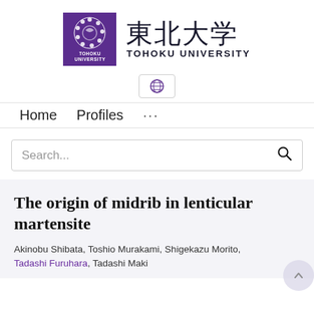[Figure (logo): Tohoku University logo: purple square with circular emblem and TOHOKU UNIVERSITY text beside large Japanese kanji 東北大学]
[Figure (logo): Small globe icon button]
Home   Profiles   ...
Search...
The origin of midrib in lenticular martensite
Akinobu Shibata, Toshio Murakami, Shigekazu Morito, Tadashi Furuhara, Tadashi Maki